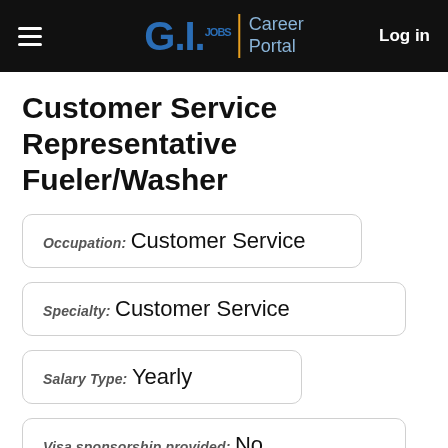G.I. Jobs | Career Portal   Log in
Customer Service Representative Fueler/Washer
Occupation: Customer Service
Specialty: Customer Service
Salary Type: Yearly
Visa sponsorship provided: No
Location: Wilsonville, Oregon, United States